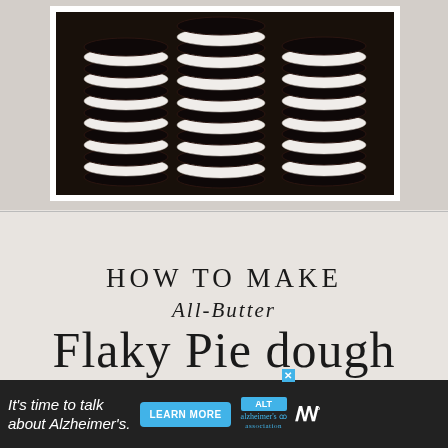[Figure (photo): Stack of dark chocolate sandwich cookies with white cream filling, arranged in rows on parchment paper, viewed from above against dark background]
[Figure (illustration): Text card with 'How To Make All-Butter Flaky Pie Dough' on a beige/gray background]
How To Make
All-Butter
Flaky Pie dough
[Figure (other): Advertisement banner: 'It's time to talk about Alzheimer's.' with Learn More button and Alzheimer's Association logo]